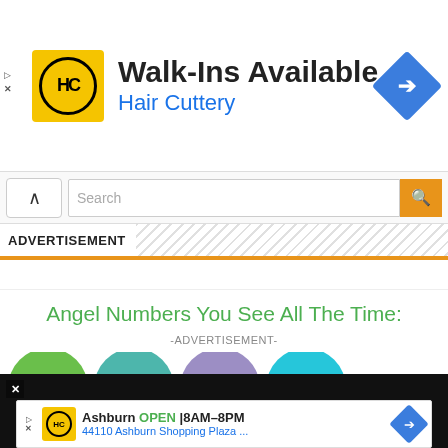[Figure (screenshot): Hair Cuttery advertisement banner with logo, 'Walk-Ins Available' headline, blue 'Hair Cuttery' subtitle, and blue diamond navigation arrow icon]
[Figure (screenshot): Website search bar with up chevron button and orange search button]
ADVERTISEMENT
[Figure (screenshot): Orange bar advertisement placeholder]
Angel Numbers You See All The Time:
-ADVERTISEMENT-
[Figure (screenshot): Row of colored circles: green, teal, purple, cyan]
[Figure (screenshot): Video overlay on black background showing 'How To Open 7 Chakras - Meditation and Healing - SunSigns.Org' with circular thumbnail and gold dot]
[Figure (screenshot): Bottom Hair Cuttery ad: Ashburn OPEN 8AM-8PM, 44110 Ashburn Shopping Plaza...]